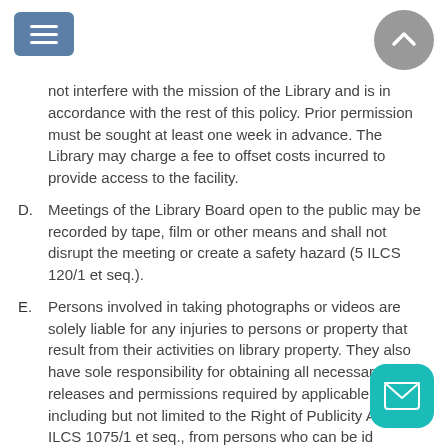(continuation) not interfere with the mission of the Library and is in accordance with the rest of this policy. Prior permission must be sought at least one week in advance. The Library may charge a fee to offset costs incurred to provide access to the facility.
D. Meetings of the Library Board open to the public may be recorded by tape, film or other means and shall not disrupt the meeting or create a safety hazard (5 ILCS 120/1 et seq.).
E. Persons involved in taking photographs or videos are solely liable for any injuries to persons or property that result from their activities on library property. They also have sole responsibility for obtaining all necessary releases and permissions required by applicable law, including but not limited to the Right of Publicity Act, 765 ILCS 1075/1 et seq., from persons who can be identified in any photograph or video or for copyrighted material. The Library undertakes no responsibility for obtaining these releases or permissions.